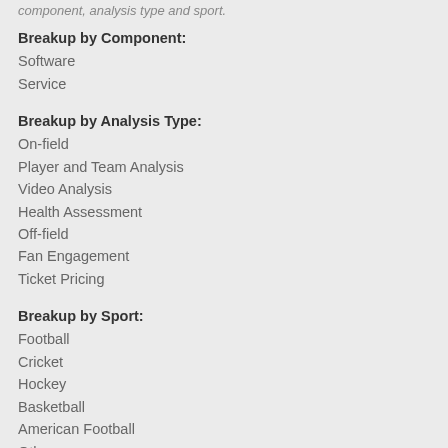component, analysis type and sport.
Breakup by Component:
Software
Service
Breakup by Analysis Type:
On-field
Player and Team Analysis
Video Analysis
Health Assessment
Off-field
Fan Engagement
Ticket Pricing
Breakup by Sport:
Football
Cricket
Hockey
Basketball
American Football
Others